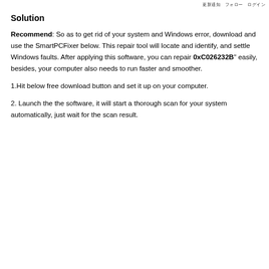更新通知　フォロー　ログイン
Solution
Recommend: So as to get rid of your system and Windows error, download and use the SmartPCFixer below. This repair tool will locate and identify, and settle Windows faults. After applying this software, you can repair 0xC026232B" easily, besides, your computer also needs to run faster and smoother.
1.Hit below free download button and set it up on your computer.
2. Launch the the software, it will start a thorough scan for your system automatically, just wait for the scan result.